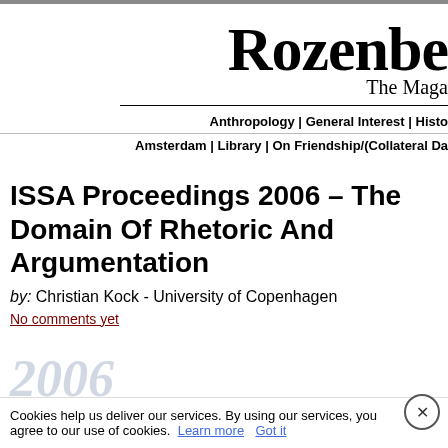Rozenberg — The Maga
Anthropology | General Interest | Histo
Amsterdam | Library | On Friendship/(Collateral Da
ISSA Proceedings 2006 – The Domain Of Rhetoric And Argumentation
by: Christian Kock - University of Copenhagen
No comments yet
Cookies help us deliver our services. By using our services, you agree to our use of cookies. Learn more Got it